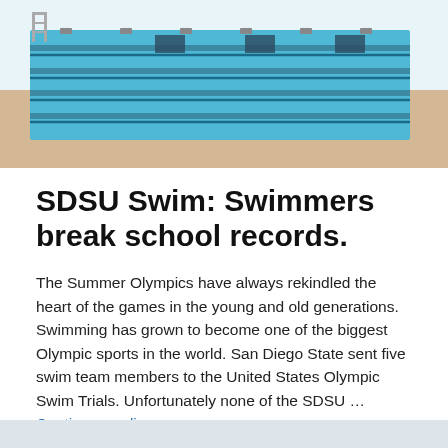[Figure (photo): Aerial/overhead view of a swimming pool with lanes, blue water and pool equipment visible from above angle, sandy surroundings]
SDSU Swim: Swimmers break school records.
The Summer Olympics have always rekindled the heart of the games in the young and old generations. Swimming has grown to become one of the biggest Olympic sports in the world. San Diego State sent five swim team members to the United States Olympic Swim Trials. Unfortunately none of the SDSU … Continue reading →
March 29, 2013
Leave a Reply